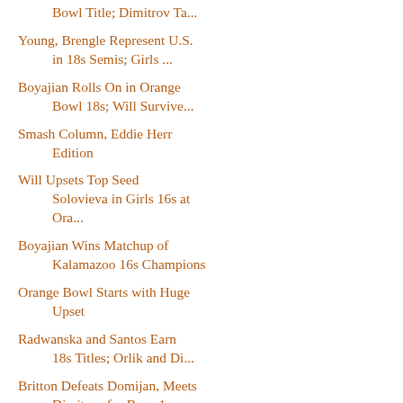Bowl Title; Dimitrov Ta...
Young, Brengle Represent U.S. in 18s Semis; Girls ...
Boyajian Rolls On in Orange Bowl 18s; Will Survive...
Smash Column, Eddie Herr Edition
Will Upsets Top Seed Solovieva in Girls 16s at Ora...
Boyajian Wins Matchup of Kalamazoo 16s Champions
Orange Bowl Starts with Huge Upset
Radwanska and Santos Earn 18s Titles; Orlik and Di...
Britton Defeats Domijan, Meets Dimitrov for Boys 1...